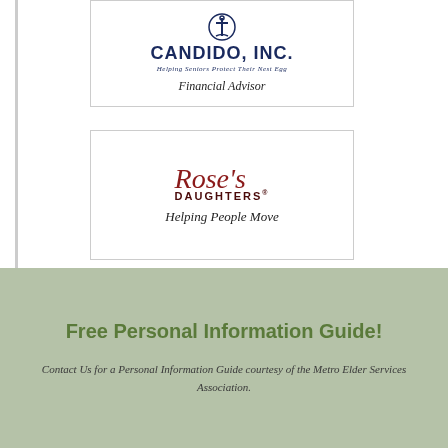[Figure (logo): Candido, Inc. logo with anchor icon. Text: CANDIDO, INC. / Helping Seniors Protect Their Nest Egg]
Financial Advisor
[Figure (logo): Rose's Daughters logo in dark red cursive/serif style]
Helping People Move
Free Personal Information Guide!
Contact Us for a Personal Information Guide courtesy of the Metro Elder Services Association.